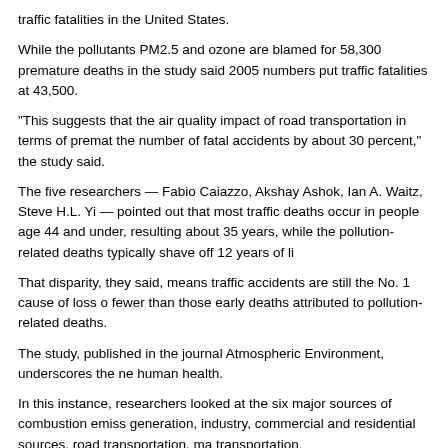traffic fatalities in the United States.
While the pollutants PM2.5 and ozone are blamed for 58,300 premature deaths in the study said 2005 numbers put traffic fatalities at 43,500.
"This suggests that the air quality impact of road transportation in terms of premat the number of fatal accidents by about 30 percent," the study said.
The five researchers — Fabio Caiazzo, Akshay Ashok, Ian A. Waitz, Steve H.L. Yi — pointed out that most traffic deaths occur in people age 44 and under, resulting about 35 years, while the pollution-related deaths typically shave off 12 years of li
That disparity, they said, means traffic accidents are still the No. 1 cause of loss o fewer than those early deaths attributed to pollution-related deaths.
The study, published in the journal Atmospheric Environment, underscores the ne human health.
In this instance, researchers looked at the six major sources of combustion emiss generation, industry, commercial and residential sources, road transportation, ma transportation.
The study's findings strongly correlate to the Utah Division of Air Quality's number vehicles as the leading cause, 57 percent, of PM2.5 emissions during the Wasatc helping to drive persistent inversions.